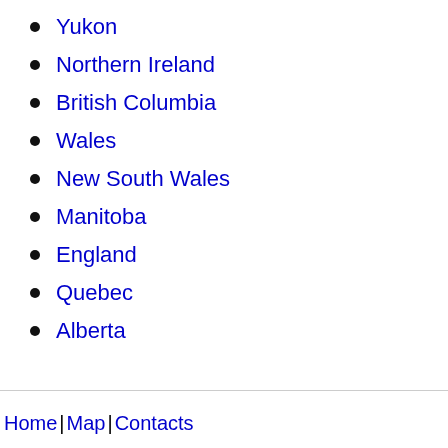Yukon
Northern Ireland
British Columbia
Wales
New South Wales
Manitoba
England
Quebec
Alberta
Home| Map| Contacts